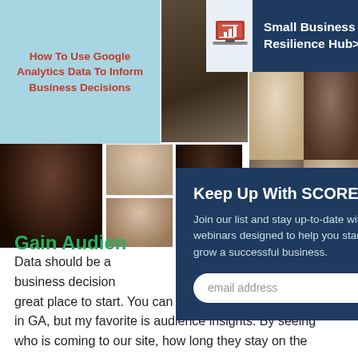[Figure (photo): Collage of person photos and UI screenshots from SCORE Atlanta website, including a light blue tile with article title, a laptop icon, headshots of various people, and a dark navy overlay with newsletter signup and Small Business Resilience Hub link.]
How To Use Google Analytics Data To Inform Business Decisions
Small Business Resilience Hub>
Keep Up With SCORE Atlanta
Join our list and stay up-to-date with webinars designed to help you start, grow a successful business.
email address
Gain Audience
Data should be a business decision, great place to start. You can find a variety of metrics in GA, but my favorite is audience insights. By seeing who is coming to our site, how long they stay on the